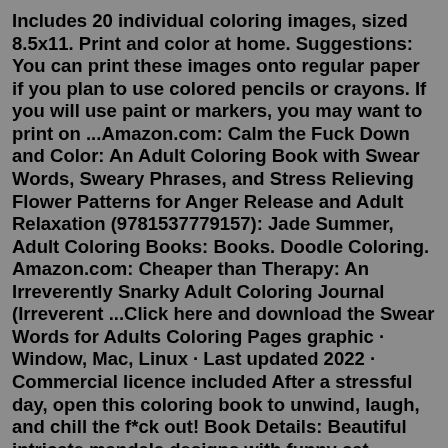Includes 20 individual coloring images, sized 8.5x11. Print and color at home. Suggestions: You can print these images onto regular paper if you plan to use colored pencils or crayons. If you will use paint or markers, you may want to print on ...Amazon.com: Calm the Fuck Down and Color: An Adult Coloring Book with Swear Words, Sweary Phrases, and Stress Relieving Flower Patterns for Anger Release and Adult Relaxation (9781537779157): Jade Summer, Adult Coloring Books: Books. Doodle Coloring. Amazon.com: Cheaper than Therapy: An Irreverently Snarky Adult Coloring Journal (Irreverent ...Click here and download the Swear Words for Adults Coloring Pages graphic · Window, Mac, Linux · Last updated 2022 · Commercial licence included After a stressful day, open this coloring book to unwind, laugh, and chill the f*ck out! Book Details: Beautiful intricate mandala designs with funny cat illustrations; 24 sayings your cat really wants to say but can't; Single-sided 8.5" x 11" coloring pages that